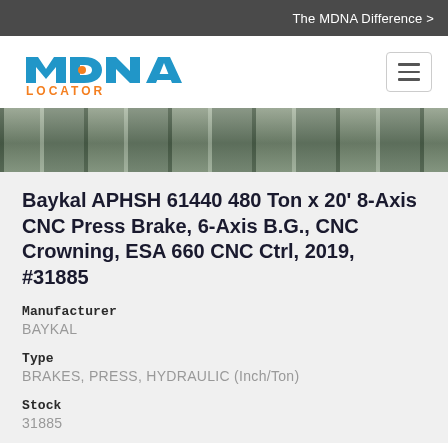The MDNA Difference >
[Figure (logo): MDNA Locator logo with blue stylized text and orange LOCATOR text below]
[Figure (photo): Close-up photo of industrial press brake machine components, showing green/grey metal panels and structural elements]
Baykal APHSH 61440 480 Ton x 20' 8-Axis CNC Press Brake, 6-Axis B.G., CNC Crowning, ESA 660 CNC Ctrl, 2019, #31885
Manufacturer
BAYKAL
Type
BRAKES, PRESS, HYDRAULIC (Inch/Ton)
Stock
31885